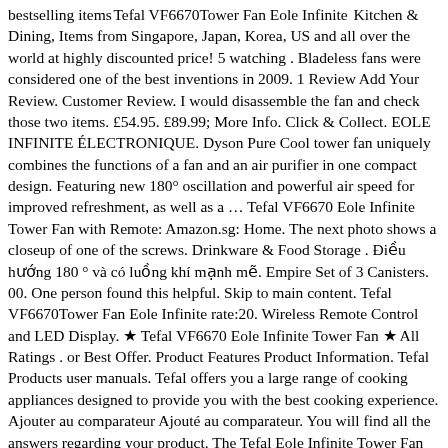bestselling items Tefal VF6670Tower Fan Eole Infinite Kitchen & Dining, Items from Singapore, Japan, Korea, US and all over the world at highly discounted price! 5 watching . Bladeless fans were considered one of the best inventions in 2009. 1 Review Add Your Review. Customer Review. I would disassemble the fan and check those two items. £54.95. £89.99; More Info. Click & Collect. EOLE INFINITE ÉLECTRONIQUE. Dyson Pure Cool tower fan uniquely combines the functions of a fan and an air purifier in one compact design. Featuring new 180° oscillation and powerful air speed for improved refreshment, as well as a … Tefal VF6670 Eole Infinite Tower Fan with Remote: Amazon.sg: Home. The next photo shows a closeup of one of the screws. Drinkware & Food Storage . Điều hướng 180 ° và có luồng khí mạnh mẽ. Empire Set of 3 Canisters. 00. One person found this helpful. Skip to main content. Tefal VF6670Tower Fan Eole Infinite rate:20. Wireless Remote Control and LED Display. ★ Tefal VF6670 Eole Infinite Tower Fan ★ All Ratings . or Best Offer. Product Features Product Information. Tefal Products user manuals. Tefal offers you a large range of cooking appliances designed to provide you with the best cooking experience. Ajouter au comparateur Ajouté au comparateur. You will find all the answers regarding your product. The Tefal Eole Infinite Tower Fan VF6670 is a slim and tall blade-less fan. Special Price S$99. Thanks to you, Tefal has become the world leader in cookware and a world leader in irons, cooking appliances, food and drink preparation products or scales! 3 Quiet, Energy-Efficient Speeds. viviannash17. Domestic Shipping. Free postage. Add Comment Cancel . Buy Tefal Eole Infinite Tower Fan in Hong Kong,Hong Kong. Repair guides and support for all household mechanical fans including ceiling, box, tower, and tower fans. Household Cleaning Tools & Vac...